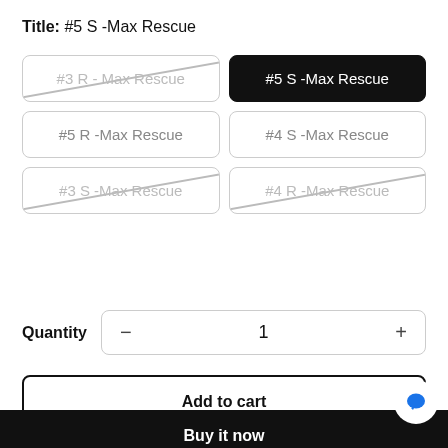Title: #5 S -Max Rescue
#3 R - Max Rescue
#5 S -Max Rescue
#5 R -Max Rescue
#4 S -Max Rescue
#3 S -Max Rescue
#4 R -Max Rescue
Quantity  -  1  +
Add to cart
Buy it now
#5 S -Max Rescue - RM 1,192.50
Add to cart